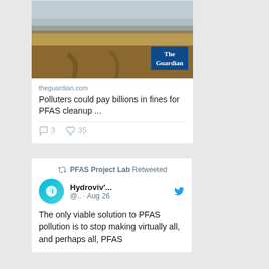[Figure (screenshot): The Guardian article thumbnail showing a barren landscape with dry grass and muddy terrain under overcast sky, with The Guardian logo badge in bottom right corner]
theguardian.com
Polluters could pay billions in fines for PFAS cleanup ...
3  35
PFAS Project Lab Retweeted
Hydroviv'... @.. · Aug 26
The only viable solution to PFAS pollution is to stop making virtually all, and perhaps all, PFAS